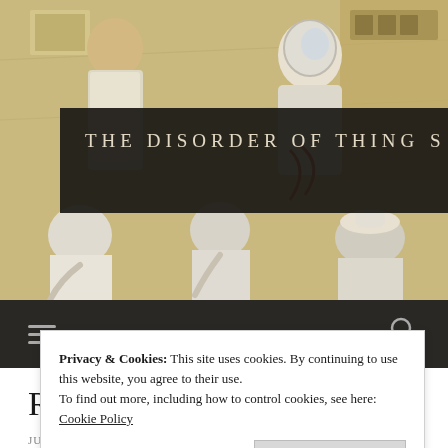[Figure (photo): Website header image showing people in white lab coats/spacesuits working at a control panel with electronic equipment, with a dark semi-transparent banner overlay reading 'THE DISORDER OF THINGS']
THE DISORDER OF THINGS
[Figure (other): Navigation bar with hamburger menu icon and search icon on dark background]
Race, Gender and
Privacy & Cookies: This site uses cookies. By continuing to use this website, you agree to their use.
To find out more, including how to control cookies, see here: Cookie Policy
Close and accept
JUNE 24, 2014 / MILES K